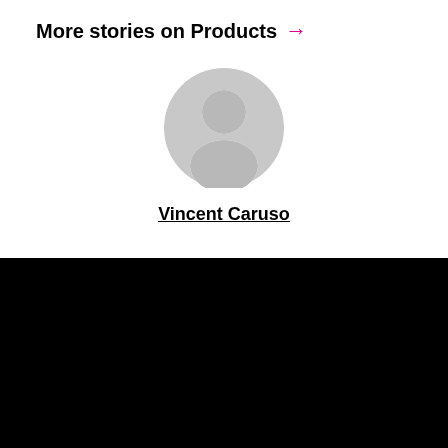More stories on Products →
[Figure (illustration): Generic user avatar silhouette in light gray — circular head and rounded shoulders shape]
Vincent Caruso
[Figure (logo): gb&d logo in white italic serif font on black background]
The leading information source for sustainability professionals.